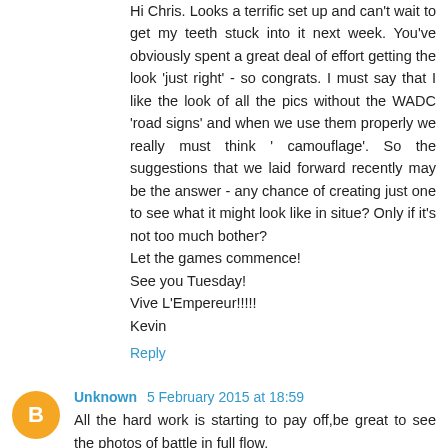Hi Chris. Looks a terrific set up and can't wait to get my teeth stuck into it next week. You've obviously spent a great deal of effort getting the look 'just right' - so congrats. I must say that I like the look of all the pics without the WADC 'road signs' and when we use them properly we really must think ' camouflage'. So the suggestions that we laid forward recently may be the answer - any chance of creating just one to see what it might look like in situe? Only if it's not too much bother?
Let the games commence!
See you Tuesday!
Vive L'Empereur!!!!!
Kevin
Reply
Unknown 5 February 2015 at 18:59
All the hard work is starting to pay off,be great to see the photos of battle in full flow.
Reply